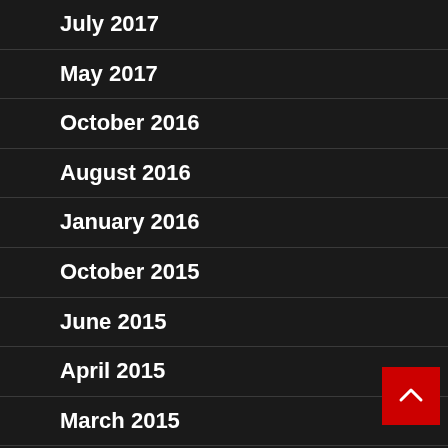July 2017
May 2017
October 2016
August 2016
January 2016
October 2015
June 2015
April 2015
March 2015
February 2015
June 2014
May 2014